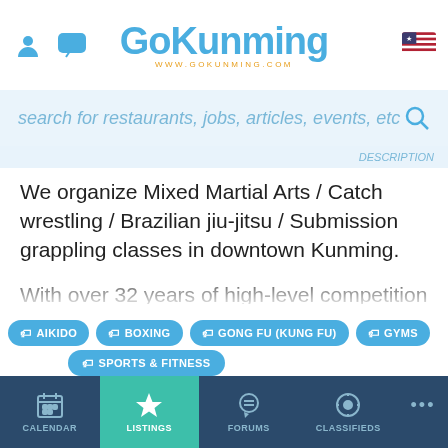GoKunming — www.gokunming.com
search for restaurants, jobs, articles, events, etc
We organize Mixed Martial Arts / Catch wrestling / Brazilian jiu-jitsu / Submission grappling classes in downtown Kunming.
With over 32 years of high-level competition and coaching background in wrestling, BJJ and MMA, we're now officially opening our third training center in China. We have 2 head instructors (black belt), both of which are national champions in their respective
AIKIDO
BOXING
GONG FU (KUNG FU)
GYMS
SPORTS & FITNESS
CALENDAR | LISTINGS | FORUMS | CLASSIFIEDS